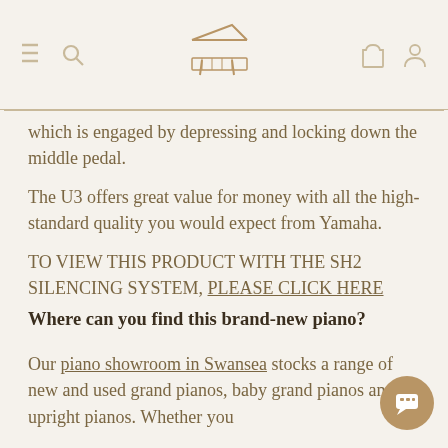[Navigation header with menu, piano logo, cart and profile icons]
which is engaged by depressing and locking down the middle pedal.
The U3 offers great value for money with all the high-standard quality you would expect from Yamaha.
TO VIEW THIS PRODUCT WITH THE SH2 SILENCING SYSTEM, PLEASE CLICK HERE
Where can you find this brand-new piano?
Our piano showroom in Swansea stocks a range of new and used grand pianos, baby grand pianos and upright pianos. Whether you